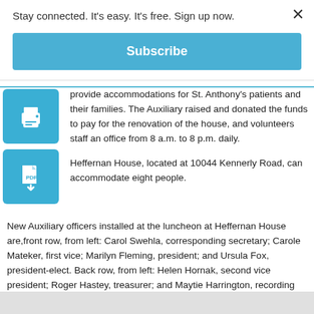Stay connected. It's easy. It's free. Sign up now.
Subscribe
provide accommodations for St. Anthony's patients and their families. The Auxiliary raised and donated the funds to pay for the renovation of the house, and volunteers staff an office from 8 a.m. to 8 p.m. daily.
Heffernan House, located at 10044 Kennerly Road, can accommodate eight people.
New Auxiliary officers installed at the luncheon at Heffernan House are,front row, from left: Carol Swehla, corresponding secretary; Carole Mateker, first vice; Marilyn Fleming, president; and Ursula Fox, president-elect. Back row, from left: Helen Hornak, second vice president; Roger Hastey, treasurer; and Maytie Harrington, recording secretary.